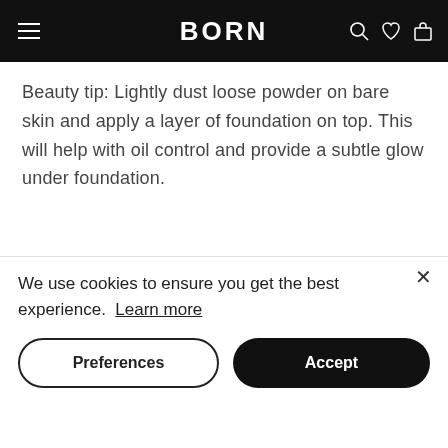BORN
Beauty tip: Lightly dust loose powder on bare skin and apply a layer of foundation on top. This will help with oil control and provide a subtle glow under foundation.
Shipping and Returns
We use cookies to ensure you get the best experience. Learn more
Preferences
Accept